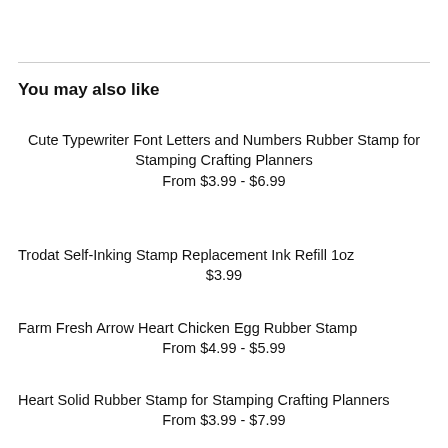You may also like
Cute Typewriter Font Letters and Numbers Rubber Stamp for Stamping Crafting Planners
From $3.99 - $6.99
Trodat Self-Inking Stamp Replacement Ink Refill 1oz
$3.99
Farm Fresh Arrow Heart Chicken Egg Rubber Stamp
From $4.99 - $5.99
Heart Solid Rubber Stamp for Stamping Crafting Planners
From $3.99 - $7.99